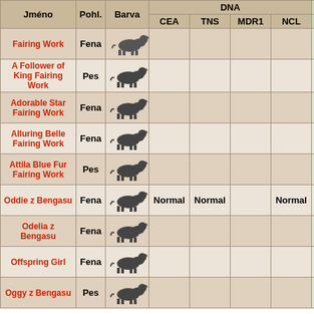| Jméno | Pohl. | Barva | CEA | TNS | MDR1 | NCL | DKK | DLK |
| --- | --- | --- | --- | --- | --- | --- | --- | --- |
| Fairing Work | Fena | [dog image] |  |  |  |  | (HDB/B) | 0/0 |
| A Follower of King Fairing Work | Pes | [dog image] |  |  |  |  | 0/0 (HDA) | 0/0 |
| Adorable Star Fairing Work | Fena | [dog image] |  |  |  |  | 0/0 (HDA) | 0/0 |
| Alluring Belle Fairing Work | Fena | [dog image] |  |  |  |  | 2/2 (HDC) | 0/0 |
| Attila Blue Fur Fairing Work | Pes | [dog image] |  |  |  |  |  |  |
| Oddie z Bengasu | Fena | [dog image] | Normal | Normal |  | Normal | A | 0/0 |
| Odelia z Bengasu | Fena | [dog image] |  |  |  |  |  |  |
| Offspring Girl | Fena | [dog image] |  |  |  |  |  |  |
| Oggy z Bengasu | Pes | [dog image] |  |  |  |  |  |  |